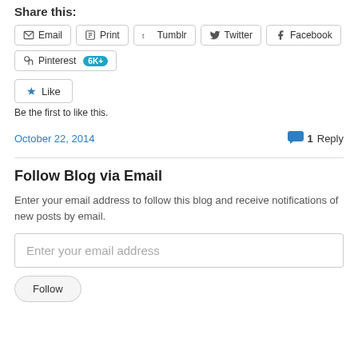Share this:
Email
Print
Tumblr
Twitter
Facebook
Pinterest 6K+
Like
Be the first to like this.
October 22, 2014
1 Reply
Follow Blog via Email
Enter your email address to follow this blog and receive notifications of new posts by email.
Enter your email address
Follow